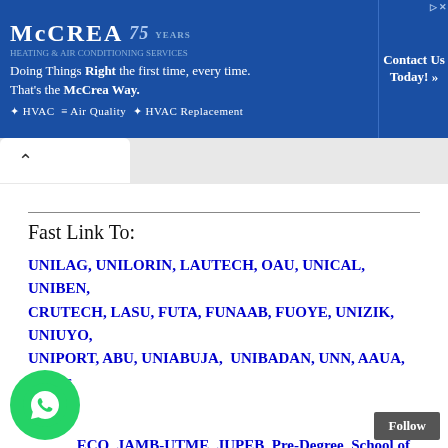[Figure (other): McCrea HVAC advertisement banner with blue background. Text: 'Doing Things Right the first time, every time. That's the McCrea Way. HVAC Air Quality HVAC Replacement. Contact Us Today!']
Fast Link To:
UNILAG, UNILORIN, LAUTECH, OAU, UNICAL, UNIBEN, CRUTECH, LASU, FUTA, FUNAAB, FUOYE, UNIZIK, UNIUYO, UNIPORT, ABU, UNIABUJA, UNIBADAN, UNN, AAUA, Others
ms
ECO, JAMB-UTME, JUPEB, Pre-Degree, School of Nursing, ICAN & ATS,